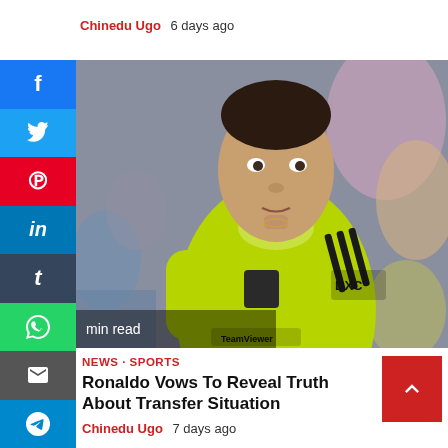Chinedu Ugo  6 days ago
[Figure (photo): Cristiano Ronaldo wearing a neon green Manchester United TeamViewer jersey, looking upward, crowd blurred in background]
min read
NEWS · SPORTS
Ronaldo Vows To Reveal Truth About Transfer Situation
Chinedu Ugo  7 days ago